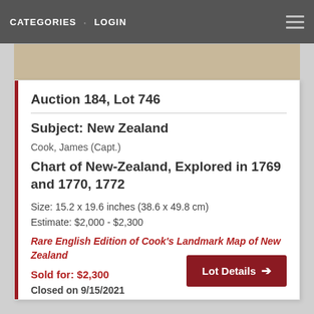CATEGORIES · LOGIN
Auction 184, Lot 746
Subject: New Zealand
Cook, James (Capt.)
Chart of New-Zealand, Explored in 1769 and 1770, 1772
Size: 15.2 x 19.6 inches (38.6 x 49.8 cm)
Estimate: $2,000 - $2,300
Rare English Edition of Cook's Landmark Map of New Zealand
Sold for: $2,300
Closed on 9/15/2021